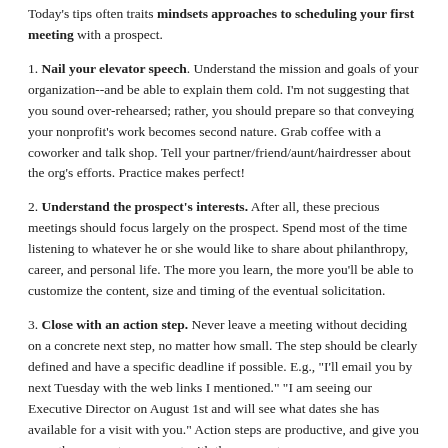Today's tips often traits mindsets approaches to scheduling your first meeting with a prospect.
1. Nail your elevator speech. Understand the mission and goals of your organization--and be able to explain them cold. I'm not suggesting that you sound over-rehearsed; rather, you should prepare so that conveying your nonprofit's work becomes second nature. Grab coffee with a coworker and talk shop. Tell your partner/friend/aunt/hairdresser about the org's efforts. Practice makes perfect!
2. Understand the prospect's interests. After all, these precious meetings should focus largely on the prospect. Spend most of the time listening to whatever he or she would like to share about philanthropy, career, and personal life. The more you learn, the more you'll be able to customize the content, size and timing of the eventual solicitation.
3. Close with an action step. Never leave a meeting without deciding on a concrete next step, no matter how small. The step should be clearly defined and have a specific deadline if possible. E.g., "I'll email you by next Tuesday with the web links I mentioned." "I am seeing our Executive Director on August 1st and will see what dates she has available for a visit with you." Action steps are productive, and give you a worthy reason to reconnect with the prospect.